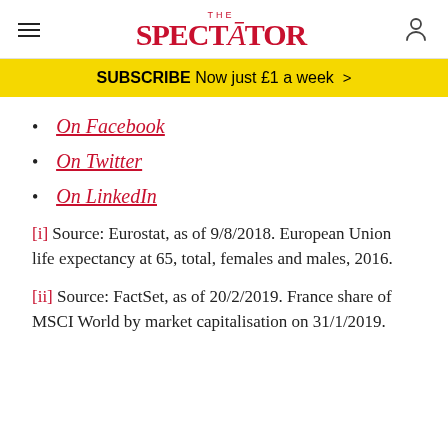THE SPECTATOR
SUBSCRIBE Now just £1 a week >
On Facebook
On Twitter
On LinkedIn
[i] Source: Eurostat, as of 9/8/2018. European Union life expectancy at 65, total, females and males, 2016.
[ii] Source: FactSet, as of 20/2/2019. France share of MSCI World by market capitalisation on 31/1/2019.